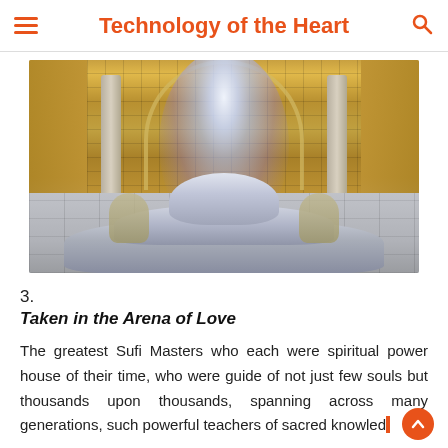Technology of the Heart
[Figure (photo): Ornate Islamic/Moorish architectural fountain with mosaic tile background, marble fountain basin, stone columns, and a mystical light burst effect in blues and purples emanating from the upper center of the arch.]
3.
Taken in the Arena of Love
The greatest Sufi Masters who each were spiritual power house of their time, who were guide of not just few souls but thousands upon thousands, spanning across many generations, such powerful teachers of sacred knowled